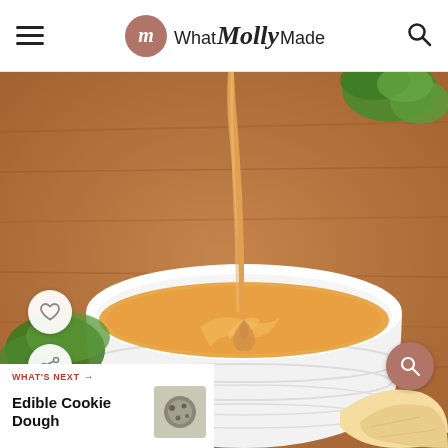What Molly Made
[Figure (photo): Creamy golden-orange sauce being poured from above into a white ridged bowl sitting on a wooden cutting board, with cilantro and tortilla chips visible in the background.]
WHAT'S NEXT → Edible Cookie Dough